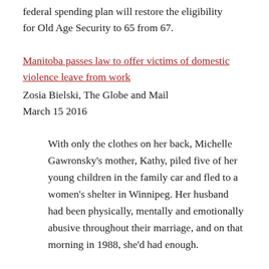federal spending plan will restore the eligibility for Old Age Security to 65 from 67.
Manitoba passes law to offer victims of domestic violence leave from work
Zosia Bielski, The Globe and Mail
March 15 2016
With only the clothes on her back, Michelle Gawronsky's mother, Kathy, piled five of her young children in the family car and fled to a women's shelter in Winnipeg. Her husband had been physically, mentally and emotionally abusive throughout their marriage, and on that morning in 1988, she'd had enough.